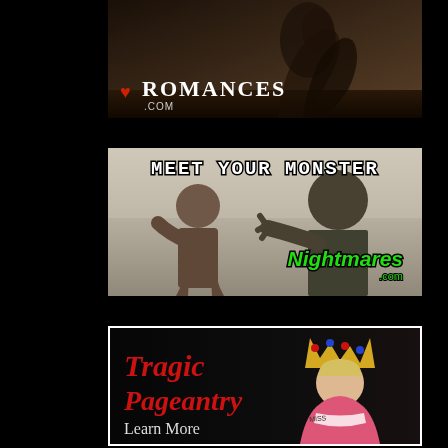[Figure (photo): Advertisement banner for Romances.com showing a couple dancing/dipping in a dimly lit setting with a heart logo and the text ROMANCES.com]
[Figure (photo): Advertisement banner for Nightmares.com with the headline MEET YOUR MONSTER showing a black and white scene of a woman screaming at a monster creature, with green Nightmares.com logo]
[Figure (photo): Advertisement banner for Tragic Pageantry with red italic text 'Tragic Pageantry' and 'Learn More' on dark background, featuring a young girl in crown and pageant dress]